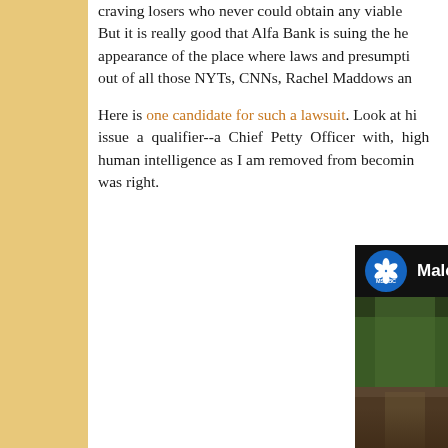craving losers who never could obtain any viable... But it is really good that Alfa Bank is suing the he... appearance of the place where laws and presumpti... out of all those NYTs, CNNs, Rachel Maddows and...
Here is one candidate for such a lawsuit. Look at hi... issue a qualifier--a Chief Petty Officer with, high... human intelligence as I am removed from becoming... was right.
[Figure (screenshot): MSNBC video thumbnail showing Malcolm Nance with a nature/landscape background]